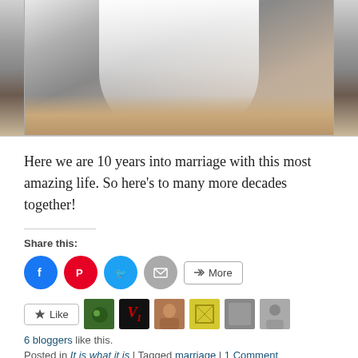[Figure (photo): Wedding dress photo, white fabric/veil visible against floor and wall background]
Here we are 10 years into marriage with this most amazing life. So here's to many more decades together!
Share this:
[Figure (infographic): Social share buttons: Facebook, Pinterest, Twitter, Email, More]
[Figure (infographic): Like button with 6 blogger avatars]
6 bloggers like this.
Posted in It is what it is | Tagged marriage | 1 Comment
JUNE 18, 2019
Year 8